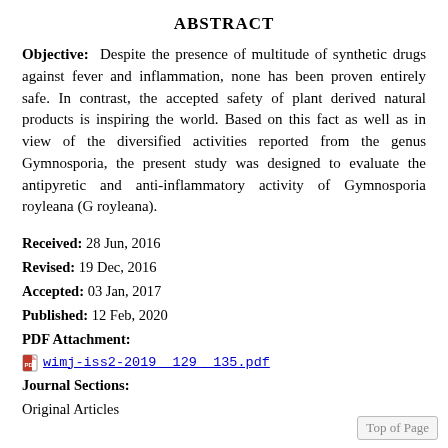ABSTRACT
Objective: Despite the presence of multitude of synthetic drugs against fever and inflammation, none has been proven entirely safe. In contrast, the accepted safety of plant derived natural products is inspiring the world. Based on this fact as well as in view of the diversified activities reported from the genus Gymnosporia, the present study was designed to evaluate the antipyretic and anti-inflammatory activity of Gymnosporia royleana (G royleana).
Received: 28 Jun, 2016
Revised: 19 Dec, 2016
Accepted: 03 Jan, 2017
Published: 12 Feb, 2020
PDF Attachment:
wimj-iss2-2019__129__135.pdf
Journal Sections:
Original Articles